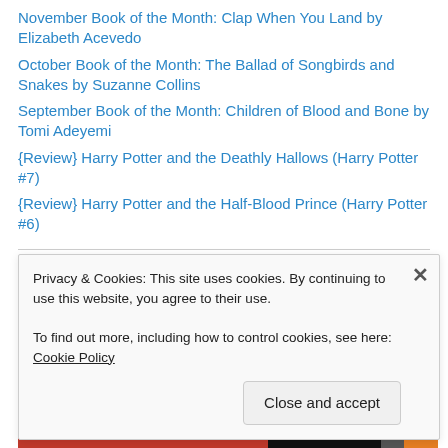November Book of the Month: Clap When You Land by Elizabeth Acevedo
October Book of the Month: The Ballad of Songbirds and Snakes by Suzanne Collins
September Book of the Month: Children of Blood and Bone by Tomi Adeyemi
{Review} Harry Potter and the Deathly Hallows (Harry Potter #7)
{Review} Harry Potter and the Half-Blood Prince (Harry Potter #6)
A Book Vacation's TOP READS — 5 STARS ALL AROUND
Privacy & Cookies: This site uses cookies. By continuing to use this website, you agree to their use.
To find out more, including how to control cookies, see here: Cookie Policy
Close and accept